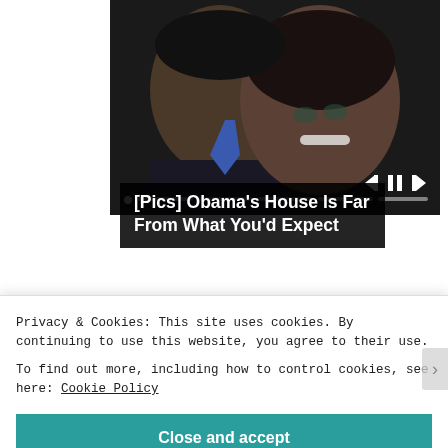[Figure (photo): Photo of two people (a man and a woman) smiling together, with media player controls visible at the bottom right of the image and a progress bar. The man is wearing a dark suit and blue tie.]
[Pics] Obama's House Is Far From What You'd Expect
sponsored by
Picture Mushroom
Privacy & Cookies: This site uses cookies. By continuing to use this website, you agree to their use.
To find out more, including how to control cookies, see here: Cookie Policy
Close and accept